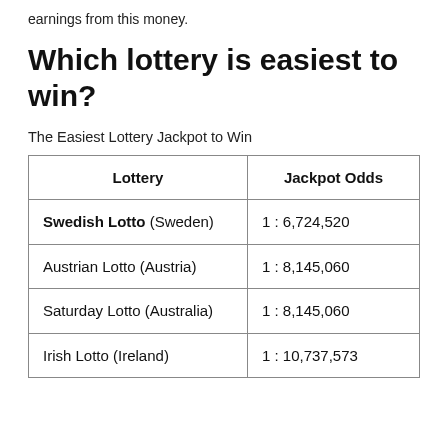earnings from this money.
Which lottery is easiest to win?
The Easiest Lottery Jackpot to Win
| Lottery | Jackpot Odds |
| --- | --- |
| Swedish Lotto (Sweden) | 1 : 6,724,520 |
| Austrian Lotto (Austria) | 1 : 8,145,060 |
| Saturday Lotto (Australia) | 1 : 8,145,060 |
| Irish Lotto (Ireland) | 1 : 10,737,573 |